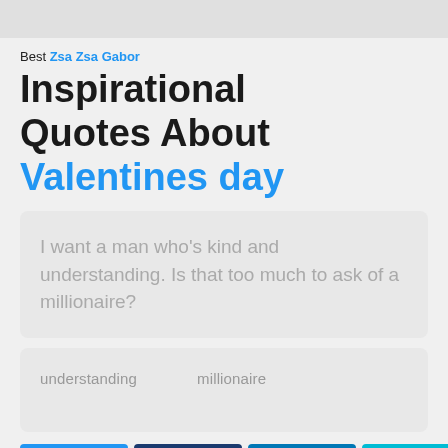Best Zsa Zsa Gabor Inspirational Quotes About Valentines day
I want a man who's kind and understanding. Is that too much to ask of a millionaire?
understanding    millionaire
@EMAIL  FACEBOOK  inLINKEDIN  TWITTER  GOOGLE+